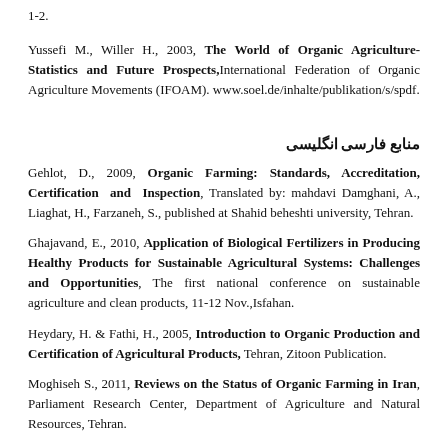1-2.
Yussefi M., Willer H., 2003, The World of Organic Agriculture-Statistics and Future Prospects, International Federation of Organic Agriculture Movements (IFOAM). www.soel.de/inhalte/publikation/s/spdf.
منابع فارسی انگلیسی
Gehlot, D., 2009, Organic Farming: Standards, Accreditation, Certification and Inspection, Translated by: mahdavi Damghani, A., Liaghat, H., Farzaneh, S., published at Shahid beheshti university, Tehran.
Ghajavand, E., 2010, Application of Biological Fertilizers in Producing Healthy Products for Sustainable Agricultural Systems: Challenges and Opportunities, The first national conference on sustainable agriculture and clean products, 11-12 Nov.,Isfahan.
Heydary, H. & Fathi, H., 2005, Introduction to Organic Production and Certification of Agricultural Products, Tehran, Zitoon Publication.
Moghiseh S., 2011, Reviews on the Status of Organic Farming in Iran, Parliament Research Center, Department of Agriculture and Natural Resources, Tehran.
Motiee Logroody, S.H., Khorasani, M.A., 2010, Opportunities and threats to the ...